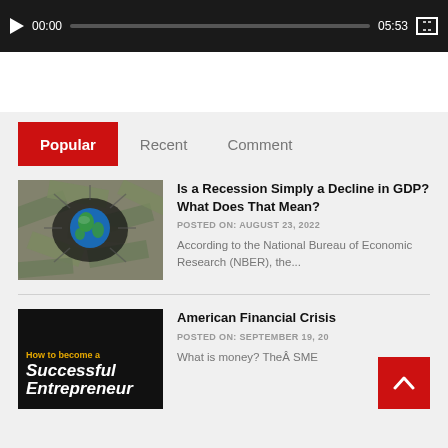[Figure (screenshot): Video player bar showing play button, 00:00 timestamp, progress bar, 05:53 duration, and fullscreen button on dark background]
[Figure (other): Tab navigation with Popular (red background), Recent, and Comment tabs]
[Figure (photo): Globe/Earth surrounded by money bills, article thumbnail]
Is a Recession Simply a Decline in GDP? What Does That Mean?
POSTED ON: AUGUST 23, 2022
According to the National Bureau of Economic Research (NBER), the...
[Figure (photo): Book cover: How to become a Successful Entrepreneur on black background]
American Financial Crisis
POSTED ON: SEPTEMBER 19, 20...
What is money? TheÃ SME